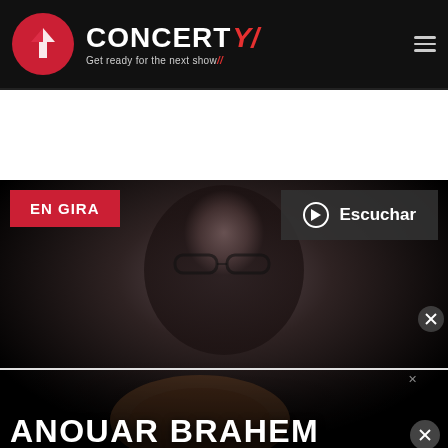[Figure (screenshot): Concerty website header with logo (Y icon in red circle), CONCERTY wordmark with red slash, tagline 'Get ready for the next show', hamburger menu icon on dark background]
[Figure (photo): Hero banner of Anouar Brahem, a musician with glasses holding a guitar, dark moody portrait photo with EN GIRA badge, Escuchar (listen) button, and the artist name overlaid at bottom]
[Figure (infographic): Advertisement banner for Freestar: 'Tailored ad management solutions for every publisher' with LEARN MORE button and illustrated characters]